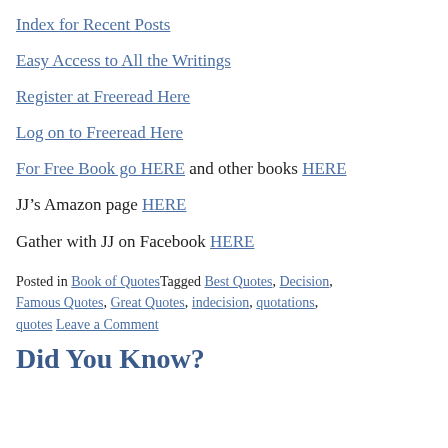Index for Recent Posts
Easy Access to All the Writings
Register at Freeread Here
Log on to Freeread Here
For Free Book go HERE and other books HERE
JJ’s Amazon page HERE
Gather with JJ on Facebook HERE
Posted in Book of QuotesTagged Best Quotes, Decision, Famous Quotes, Great Quotes, indecision, quotations, quotes Leave a Comment
Did You Know?